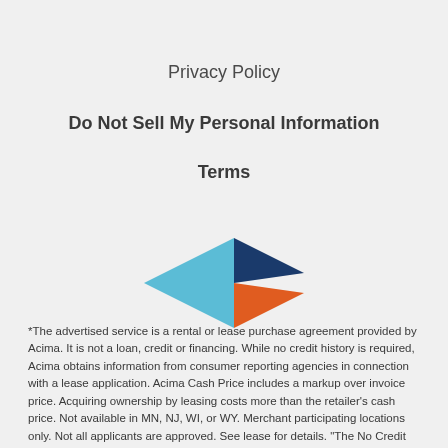Privacy Policy
Do Not Sell My Personal Information
Terms
[Figure (logo): Acima logo mark consisting of geometric arrow shapes: a light blue triangle pointing left, a dark navy blue triangle on top pointing right, and an orange triangle on the right pointing right, forming a stylized play/arrow logo.]
*The advertised service is a rental or lease purchase agreement provided by Acima. It is not a loan, credit or financing. While no credit history is required, Acima obtains information from consumer reporting agencies in connection with a lease application. Acima Cash Price includes a markup over invoice price. Acquiring ownership by leasing costs more than the retailer's cash price. Not available in MN, NJ, WI, or WY. Merchant participating locations only. Not all applicants are approved. See lease for details. "The No Credit Option" or "Without Credit" means that no credit history is required for approval.